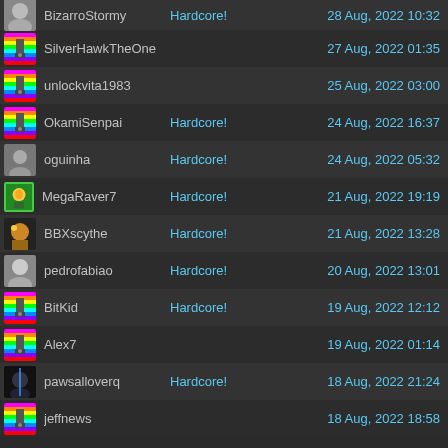BizarroStormy — Hardcore! — 28 Aug, 2022 10:32
SilverHawkTheOne — 27 Aug, 2022 01:35
unlockvita1983 — 25 Aug, 2022 03:00
OkamiSenpai — Hardcore! — 24 Aug, 2022 16:37
oguinha — Hardcore! — 24 Aug, 2022 05:32
MegaRaver7 — Hardcore! — 21 Aug, 2022 19:19
BBXscythe — Hardcore! — 21 Aug, 2022 13:28
pedrofabiao — Hardcore! — 20 Aug, 2022 13:01
BitKid — Hardcore! — 19 Aug, 2022 12:12
Alex7 — 19 Aug, 2022 01:14
pawsalloverq — Hardcore! — 18 Aug, 2022 21:24
jeffnews — 18 Aug, 2022 18:58